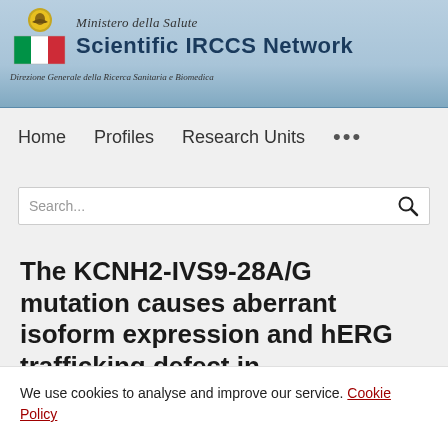Ministero della Salute — Scientific IRCCS Network — Direzione Generale della Ricerca Sanitaria e Biomedica
Home   Profiles   Research Units   ...
Search...
The KCNH2-IVS9-28A/G mutation causes aberrant isoform expression and hERG trafficking defect in
We use cookies to analyse and improve our service. Cookie Policy